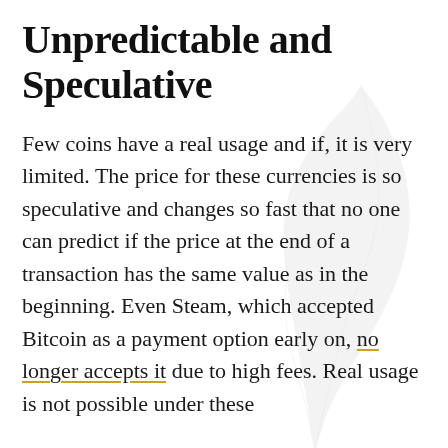Unpredictable and Speculative
Few coins have a real usage and if, it is very limited. The price for these currencies is so speculative and changes so fast that no one can predict if the price at the end of a transaction has the same value as in the beginning. Even Steam, which accepted Bitcoin as a payment option early on, no longer accepts it due to high fees. Real usage is not possible under these circumstances.